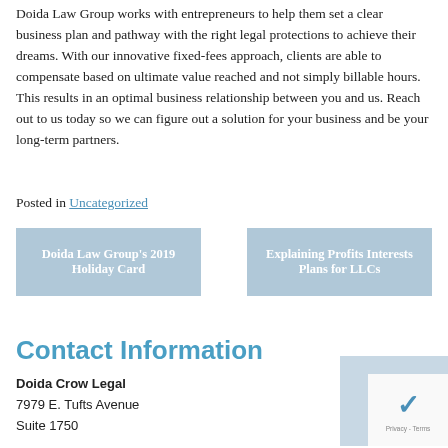Doida Law Group works with entrepreneurs to help them set a clear business plan and pathway with the right legal protections to achieve their dreams. With our innovative fixed-fees approach, clients are able to compensate based on ultimate value reached and not simply billable hours. This results in an optimal business relationship between you and us. Reach out to us today so we can figure out a solution for your business and be your long-term partners.
Posted in Uncategorized
[Figure (other): Navigation button linking to previous post: Doida Law Group's 2019 Holiday Card]
[Figure (other): Navigation button linking to next post: Explaining Profits Interests Plans for LLCs]
Contact Information
Doida Crow Legal
7979 E. Tufts Avenue
Suite 1750
[Figure (other): reCAPTCHA widget with Privacy - Terms text]